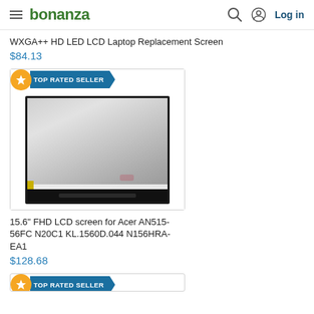bonanza — Log in
WXGA++ HD LED LCD Laptop Replacement Screen
$84.13
[Figure (photo): Product listing card for a 15.6" FHD LCD laptop screen with TOP RATED SELLER badge showing the laptop screen component against white background]
15.6" FHD LCD screen for Acer AN515-56FC N20C1 KL.1560D.044 N156HRA-EA1
$128.68
[Figure (photo): Partial view of another product card with TOP RATED SELLER badge at bottom of page]